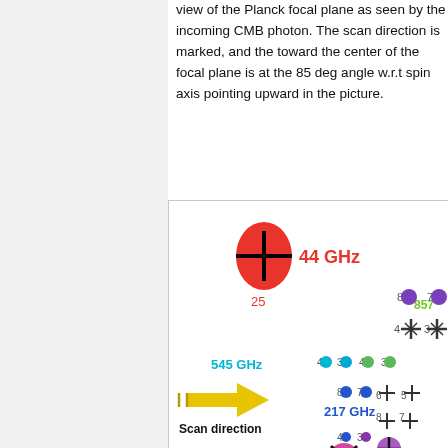view of the Planck focal plane as seen by the incoming CMB photon. The scan direction is marked, and the toward the center of the focal plane is at the 85 deg angle w.r.t spin axis pointing upward in the picture.
[Figure (illustration): Diagram of the Planck focal plane showing detector positions at various frequencies (44 GHz, 217 GHz, 545 GHz, 70 GHz, 857 GHz) with colored circles and cross symbols indicating detector locations. A yellow arrow labeled 'Scan direction' points to the right. Detector numbers are shown next to each symbol.]